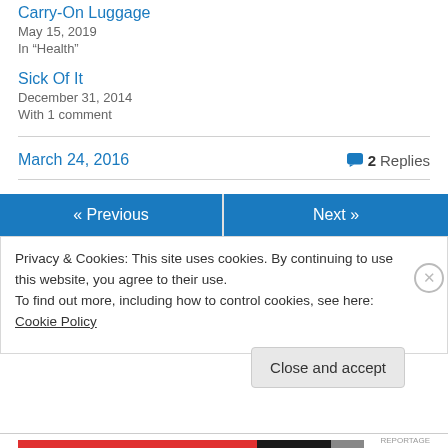Carry-On Luggage
May 15, 2019
In "Health"
Sick Of It
December 31, 2014
With 1 comment
March 24, 2016
2 Replies
« Previous
Next »
Privacy & Cookies: This site uses cookies. By continuing to use this website, you agree to their use.
To find out more, including how to control cookies, see here: Cookie Policy
Close and accept